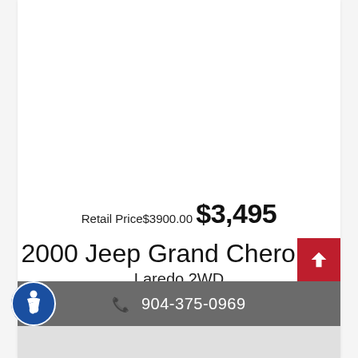Retail Price$3900.00 $3,495
2000 Jeep Grand Cherokee Laredo 2WD
📞 904-375-0969